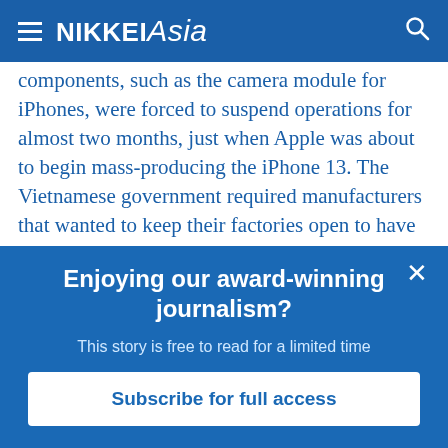NIKKEI Asia
components, such as the camera module for iPhones, were forced to suspend operations for almost two months, just when Apple was about to begin mass-producing the iPhone 13. The Vietnamese government required manufacturers that wanted to keep their factories open to have their workers sleep on-site to prevent the virus's spread.
Enjoying our award-winning journalism?
This story is free to read for a limited time
Subscribe for full access